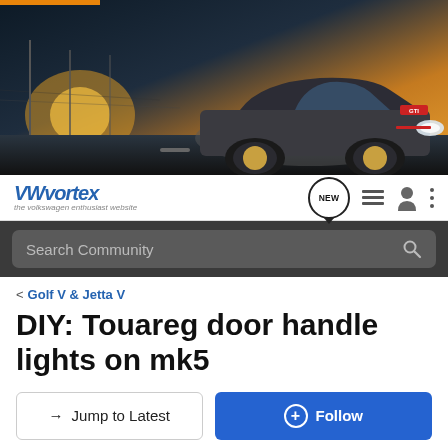[Figure (photo): VW GTI car promotional banner photo showing a silver/grey Volkswagen GTI driving on a road with a sunset/golden sky background]
VWvortex – the volkswagen enthusiast website – navigation bar with NEW messages, menu, profile, and more icons
Search Community
< Golf V & Jetta V
DIY: Touareg door handle lights on mk5
→ Jump to Latest
+ Follow
1 - 20 of 68 Posts
1 of 4